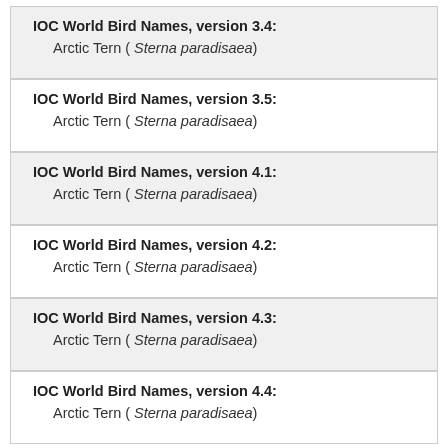IOC World Bird Names, version 3.4:
  Arctic Tern ( Sterna paradisaea)
IOC World Bird Names, version 3.5:
  Arctic Tern ( Sterna paradisaea)
IOC World Bird Names, version 4.1:
  Arctic Tern ( Sterna paradisaea)
IOC World Bird Names, version 4.2:
  Arctic Tern ( Sterna paradisaea)
IOC World Bird Names, version 4.3:
  Arctic Tern ( Sterna paradisaea)
IOC World Bird Names, version 4.4:
  Arctic Tern ( Sterna paradisaea)